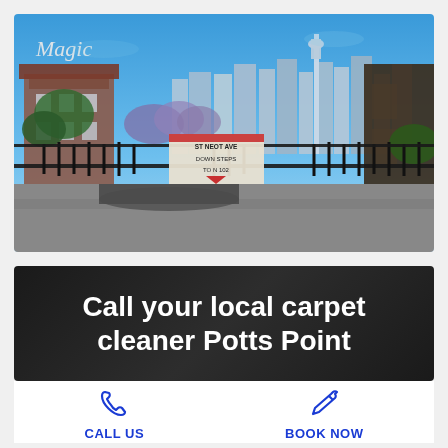[Figure (photo): Photograph of Potts Point, Sydney, showing a street-level view with iron fence, a sign reading 'ST NEOT AVE DOWN STEPS TO N 102', residential buildings, jacaranda trees, and the Sydney CBD skyline with tower in the background under a blue sky. A 'Magic' logo/watermark appears in the upper left of the photo.]
Call your local carpet cleaner Potts Point
CALL US
BOOK NOW